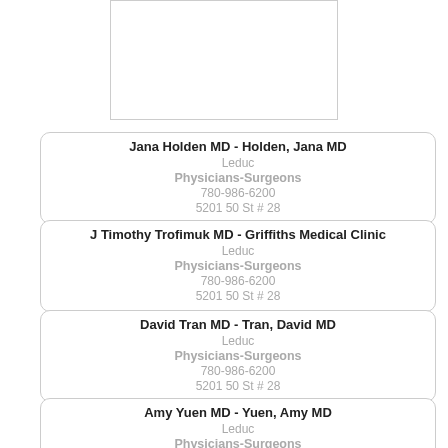[Figure (other): Partial top image box, partially visible at top of page]
Jana Holden MD - Holden, Jana MD
Leduc
Physicians-Surgeons
780-986-6200
5201 50 St # 28
J Timothy Trofimuk MD - Griffiths Medical Clinic
Leduc
Physicians-Surgeons
780-986-6200
5201 50 St # 28
David Tran MD - Tran, David MD
Leduc
Physicians-Surgeons
780-986-6200
5201 50 St # 28
Amy Yuen MD - Yuen, Amy MD
Leduc
Physicians-Surgeons
780-986-6200
5201 50 St # 28